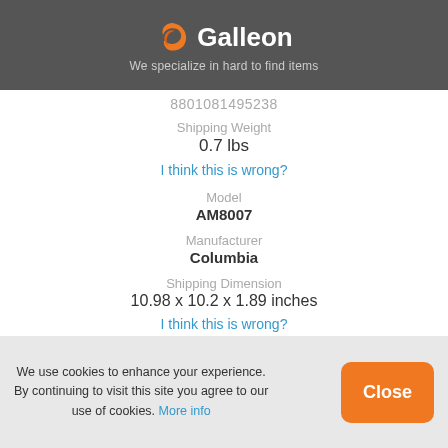Galleon - We specialize in hard to find items
8801081495238
Shipping Weight
0.7 lbs
I think this is wrong?
Model
AM8007
Manufacturer
Columbia
Shipping Dimension
10.98 x 10.2 x 1.89 inches
I think this is wrong?
See more product information!
We use cookies to enhance your experience. By continuing to visit this site you agree to our use of cookies. More info